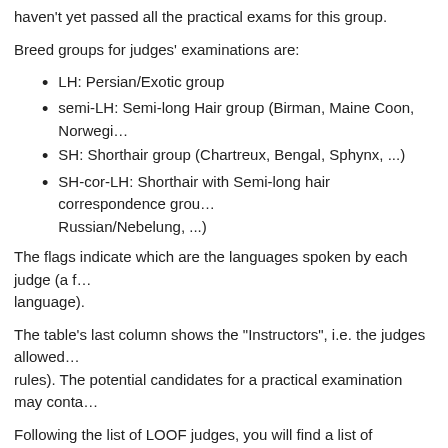haven't yet passed all the practical exams for this group.
Breed groups for judges' examinations are:
LH: Persian/Exotic group
semi-LH: Semi-long Hair group (Birman, Maine Coon, Norwegi…
SH: Shorthair group (Chartreux, Bengal, Sphynx, ...)
SH-cor-LH: Shorthair with Semi-long hair correspondence grou… Russian/Nebelung, ...)
The flags indicate which are the languages spoken by each judge (a f… language).
The table's last column shows the "Instructors", i.e. the judges allowed… rules). The potential candidates for a practical examination may conta…
Following the list of LOOF judges, you will find a list of trainees.
These lists are sorted by alphabetical order.
You may alternatively sort them by region/country.
List of judges
| Photo | Name |
| --- | --- |
| [photo] | Florence BAJOU |